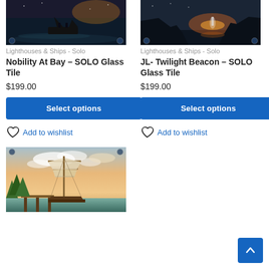[Figure (photo): Product image for Nobility At Bay – SOLO Glass Tile, showing a boat on dark water at dusk]
[Figure (photo): Product image for JL- Twilight Beacon – SOLO Glass Tile, showing a coastal scene at sunset]
Lighthouses & Ships - Solo
Nobility At Bay – SOLO Glass Tile
$199.00
Select options
Add to wishlist
Lighthouses & Ships - Solo
JL- Twilight Beacon – SOLO Glass Tile
$199.00
Select options
Add to wishlist
[Figure (photo): Product image showing a tall sailing ship docked at a pier with pastel sunset sky background]